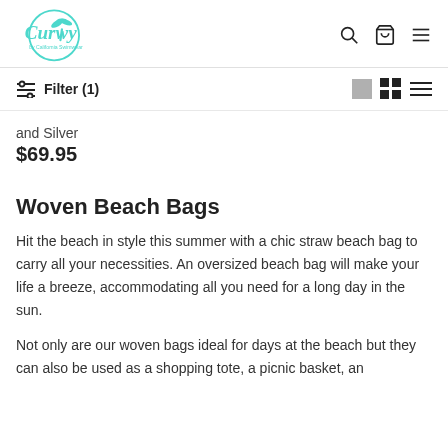Curvy by California Swimwear — navigation header with logo, search, bag, and menu icons
Filter (1) — with view toggle icons
and Silver
$69.95
Woven Beach Bags
Hit the beach in style this summer with a chic straw beach bag to carry all your necessities. An oversized beach bag will make your life a breeze, accommodating all you need for a long day in the sun.
Not only are our woven bags ideal for days at the beach but they can also be used as a shopping tote, a picnic basket, an